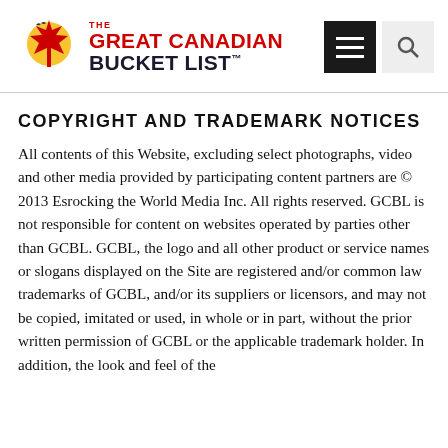[Figure (logo): The Great Canadian Bucket List logo with maple leaf graphic and red/black text]
COPYRIGHT AND TRADEMARK NOTICES
All contents of this Website, excluding select photographs, video and other media provided by participating content partners are © 2013 Esrocking the World Media Inc. All rights reserved. GCBL is not responsible for content on websites operated by parties other than GCBL. GCBL, the logo and all other product or service names or slogans displayed on the Site are registered and/or common law trademarks of GCBL, and/or its suppliers or licensors, and may not be copied, imitated or used, in whole or in part, without the prior written permission of GCBL or the applicable trademark holder. In addition, the look and feel of the